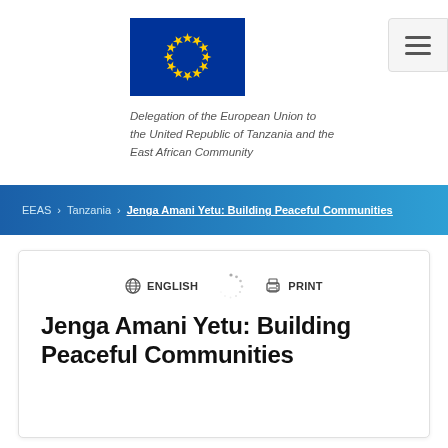[Figure (logo): EU flag - dark blue background with circle of 12 gold stars]
Delegation of the European Union to the United Republic of Tanzania and the East African Community
EEAS > Tanzania > Jenga Amani Yetu: Building Peaceful Communities
ENGLISH   PRINT
Jenga Amani Yetu: Building Peaceful Communities